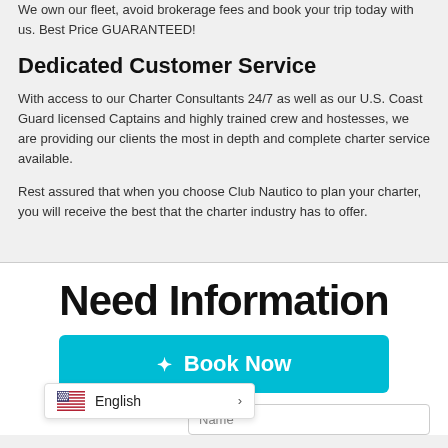We own our fleet, avoid brokerage fees and book your trip today with us. Best Price GUARANTEED!
Dedicated Customer Service
With access to our Charter Consultants 24/7 as well as our U.S. Coast Guard licensed Captains and highly trained crew and hostesses, we are providing our clients the most in depth and complete charter service available.
Rest assured that when you choose Club Nautico to plan your charter, you will receive the best that the charter industry has to offer.
Need Information
Book Now
English
Name